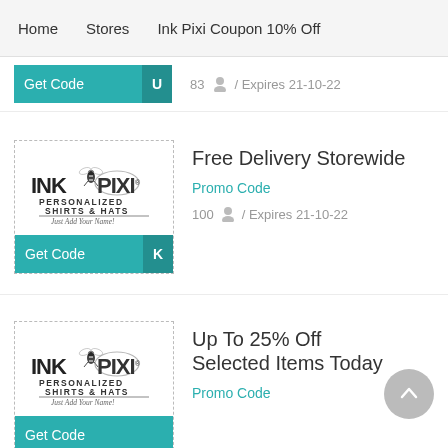Home  Stores  Ink Pixi Coupon 10% Off
[Figure (screenshot): Ink Pixi logo with personalized shirts & hats text and fairy graphic - Get Code button with U code, 83 users, Expires 21-10-22]
[Figure (logo): Ink Pixi Personalized Shirts & Hats - Just Add Your Name! logo with fairy graphic]
Free Delivery Storewide
Promo Code
100  /  Expires 21-10-22
[Figure (logo): Ink Pixi Personalized Shirts & Hats - Just Add Your Name! logo with fairy graphic]
Up To 25% Off Selected Items Today
Promo Code